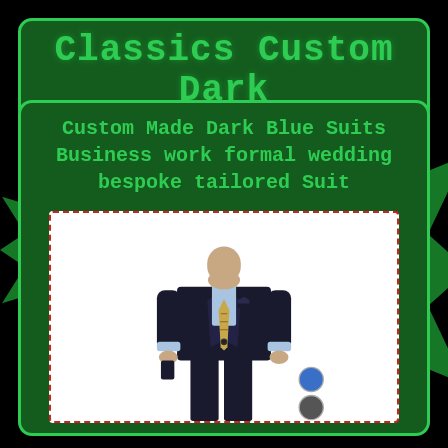Classics Custom Dark
Custom Made Dark Blue Suits Business work formal wedding bespoke tailored Suit
[Figure (photo): Man wearing a custom dark navy blue business suit with a light blue shirt and patterned tie. Two color swatches shown at bottom right: blue and gray.]